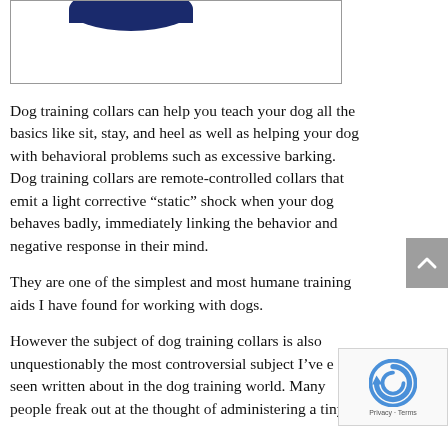[Figure (illustration): Partial image of a dog training collar logo or product image with dark blue shape visible at top, shown inside a bordered box]
Dog training collars can help you teach your dog all the basics like sit, stay, and heel as well as helping your dog with behavioral problems such as excessive barking. Dog training collars are remote-controlled collars that emit a light corrective “static” shock when your dog behaves badly, immediately linking the behavior and negative response in their mind.
They are one of the simplest and most humane training aids I have found for working with dogs.
However the subject of dog training collars is also unquestionably the most controversial subject I’ve ever seen written about in the dog training world. Many people freak out at the thought of administering a tiny